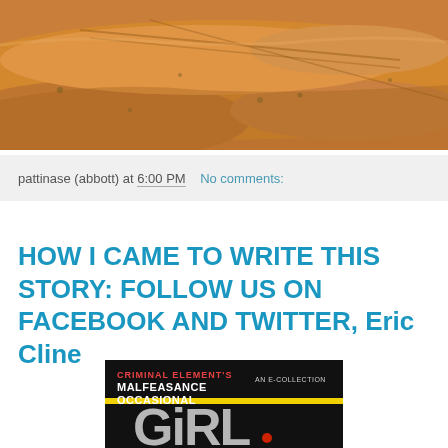[Figure (photo): Aerial photograph of a sandy desert landscape with sparse vegetation and tire tracks visible on the ground. Orange-brown sandy terrain.]
pattinase (abbott) at 6:00 PM   No comments:
HOW I CAME TO WRITE THIS STORY: FOLLOW US ON FACEBOOK AND TWITTER, Eric Cline
[Figure (photo): Book cover for 'Criminal Element's Malfeasance Occasional: An E-Collection' showing large stylized text 'GiRL' on dark background with yellow stripe.]